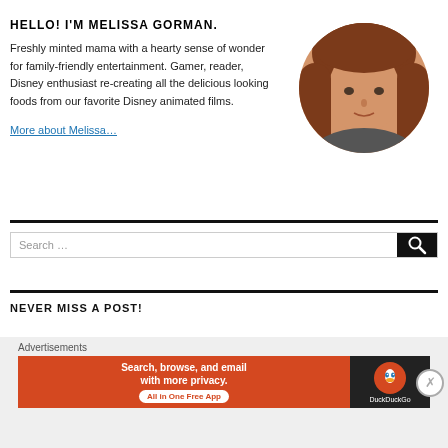HELLO! I'M MELISSA GORMAN.
Freshly minted mama with a hearty sense of wonder for family-friendly entertainment. Gamer, reader, Disney enthusiast re-creating all the delicious looking foods from our favorite Disney animated films.
More about Melissa…
[Figure (photo): Circular portrait photo of Melissa Gorman, a woman with long auburn/red hair]
[Figure (screenshot): Search box with Search... placeholder and black search button with magnifying glass icon]
NEVER MISS A POST!
[Figure (infographic): DuckDuckGo advertisement banner: 'Search, browse, and email with more privacy. All in One Free App' with DuckDuckGo logo on dark background]